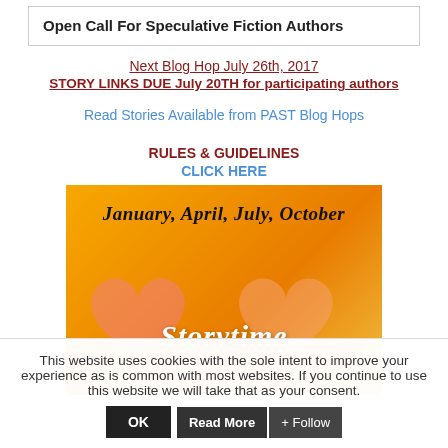Open Call For Speculative Fiction Authors
Next Blog Hop July 26th, 2017
STORY LINKS DUE July 20TH for participating authors
Read Stories Available from PAST Blog Hops
RULES & GUIDELINES
CLICK HERE
[Figure (illustration): Orange banner with text 'January, April, July, October' and 'Storytime' in white script, with heart shapes in the background.]
This website uses cookies with the sole intent to improve your experience as is common with most websites. If you continue to use this website we will take that as your consent.